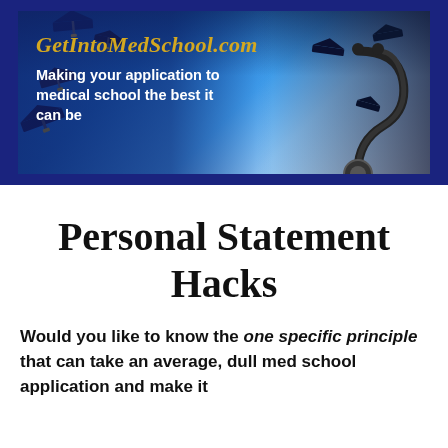[Figure (illustration): GetIntoMedSchool.com banner header showing graduation caps being tossed in the air on the left side and a stethoscope on the right side, with text 'GetIntoMedSchool.com' in gold italic script and tagline 'Making your application to medical school the best it can be' in white bold text. Dark navy blue background.]
Personal Statement Hacks
Would you like to know the one specific principle that can take an average, dull med school application and make it